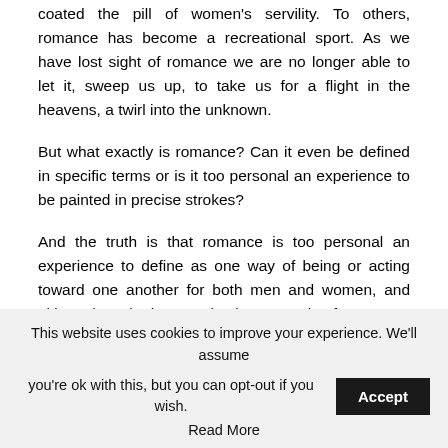coated the pill of women's servility. To others, romance has become a recreational sport. As we have lost sight of romance we are no longer able to let it, sweep us up, to take us for a flight in the heavens, a twirl into the unknown.
But what exactly is romance? Can it even be defined in specific terms or is it too personal an experience to be painted in precise strokes?
And the truth is that romance is too personal an experience to define as one way of being or acting toward one another for both men and women, and ultimately an intricate and unique equation for
This website uses cookies to improve your experience. We'll assume you're ok with this, but you can opt-out if you wish. Accept Read More